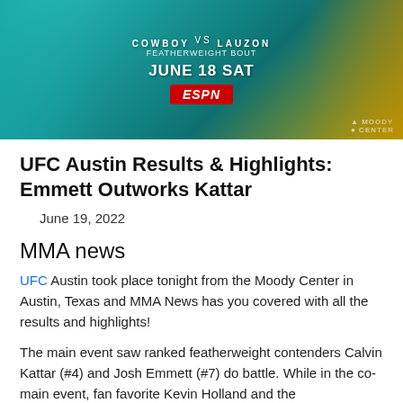[Figure (photo): UFC Austin promotional banner showing 'Cowboy vs Lauzon' featherweight bout, June 18 SAT, ESPN logo, Moody Center branding, teal/cyan color scheme with fighters]
UFC Austin Results & Highlights: Emmett Outworks Kattar
June 19, 2022
MMA news
UFC Austin took place tonight from the Moody Center in Austin, Texas and MMA News has you covered with all the results and highlights!
The main event saw ranked featherweight contenders Calvin Kattar (#4) and Josh Emmett (#7) do battle. While in the co-main event, fan favorite Kevin Holland and the